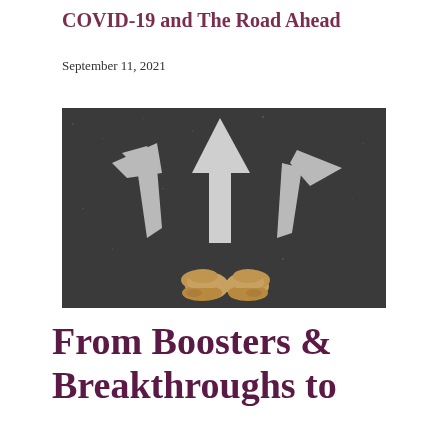COVID-19 and The Road Ahead
September 11, 2021
[Figure (photo): Overhead view of a person's feet standing on asphalt pavement with three white chalk arrows pointing left, straight ahead, and right, symbolizing a crossroads or decision point.]
From Boosters & Breakthroughs to